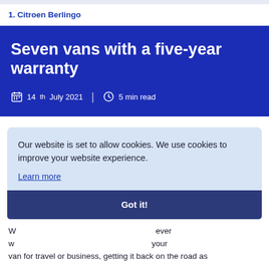1. Citroen Berlingo
Seven vans with a five-year warranty
14th July 2021  |  5 min read
Our website is set to allow cookies. We use cookies to improve your website experience. Learn more
Got it!
van for travel or business, getting it back on the road as